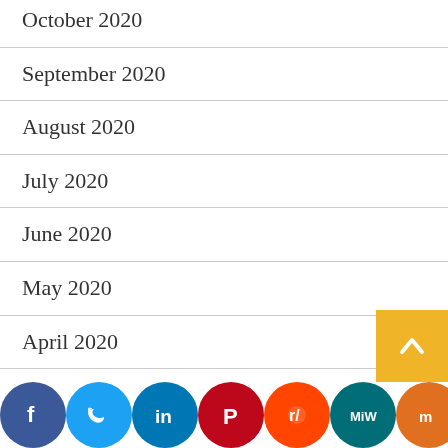October 2020
September 2020
August 2020
July 2020
June 2020
May 2020
April 2020
March 2020
February 2020
January 2020
[Figure (infographic): Social media sharing icons bar: Facebook, Twitter, LinkedIn, Pinterest, Reddit, MeWe, Mix, WhatsApp, More]